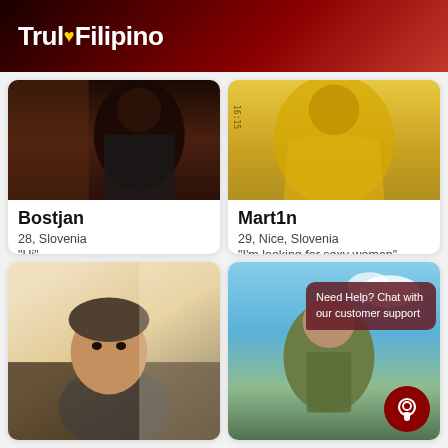TrulyFilipino
[Figure (photo): Profile photo of Bostjan - dark photo showing a person from behind/side in dark clothing]
Bostjan
28, Slovenia
"Hi"
[Figure (photo): Profile photo of Mart1n - person in yellow top, photo with timestamp 16:15]
Mart1n
29, Nice, Slovenia
"I'm looking for sexy woman"
[Figure (photo): Profile photo of a man in a car selfie, light interior]
[Figure (photo): Profile photo of a man in olive jacket outdoors with blue sky, with customer support chat overlay]
Need Help? Chat with our customer support